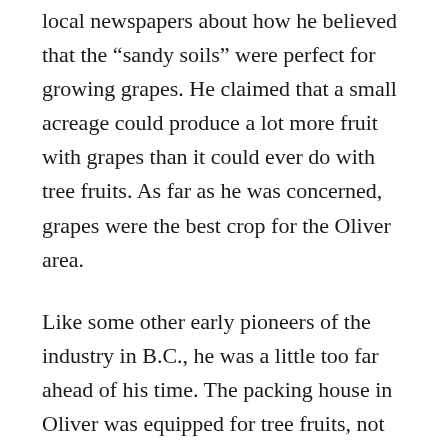local newspapers about how he believed that the “sandy soils” were perfect for growing grapes. He claimed that a small acreage could produce a lot more fruit with grapes than it could ever do with tree fruits. As far as he was concerned, grapes were the best crop for the Oliver area.
Like some other early pioneers of the industry in B.C., he was a little too far ahead of his time. The packing house in Oliver was equipped for tree fruits, not delicate bunches of grapes. Getting grapes to a wider market in other regions was beyond both Renyi’s and the young farming community’s means at the time. Though the Kettle Valley Railway was operational as far as Oliver by then, it is not clear why his grapes did not find a